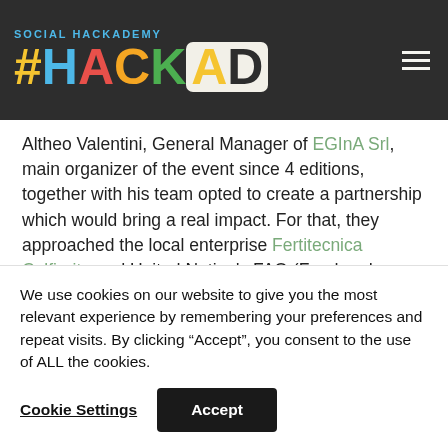SOCIAL HACKADEMY #HACKAD
Altheo Valentini, General Manager of EGInA Srl, main organizer of the event since 4 editions, together with his team opted to create a partnership which would bring a real impact. For that, they approached the local enterprise Fertitecnica Colfiorito and United Nation's FAO (Food and Agriculture Organization)
We use cookies on our website to give you the most relevant experience by remembering your preferences and repeat visits. By clicking “Accept”, you consent to the use of ALL the cookies.
Cookie Settings | Accept